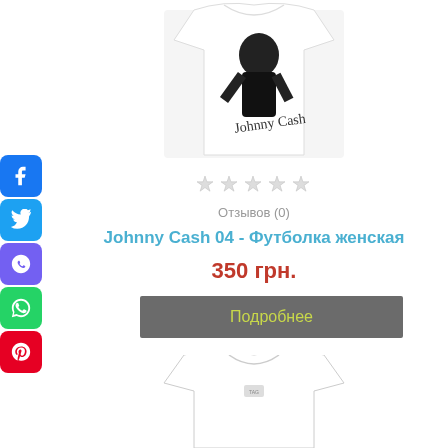[Figure (photo): White women's t-shirt with Johnny Cash black and white print and signature]
[Figure (other): Five star rating icons (all empty/grey)]
Отзывов (0)
Johnny Cash 04 - Футболка женская
350 грн.
Подробнее
[Figure (photo): White women's t-shirt partially visible at bottom of page]